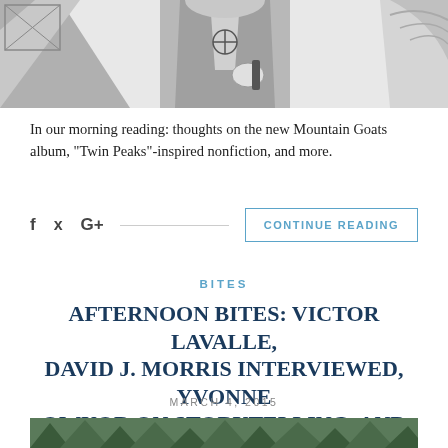[Figure (illustration): Partial illustration showing a figure in a suit holding something, with a crosshair symbol on their chest, and another partial figure at the far right — a comic/cartoon style drawing cropped at the top of the page.]
In our morning reading: thoughts on the new Mountain Goats album, “Twin Peaks”-inspired nonfiction, and more.
BITES
AFTERNOON BITES: VICTOR LAVALLE, DAVID J. MORRIS INTERVIEWED, YVONNE OWUOR ON STORYTELLING, AND MORE
MARCH 4, 2015
[Figure (photo): Photograph of a man with short dark hair and glasses, standing outdoors in front of a wooden structure with trees in the background.]